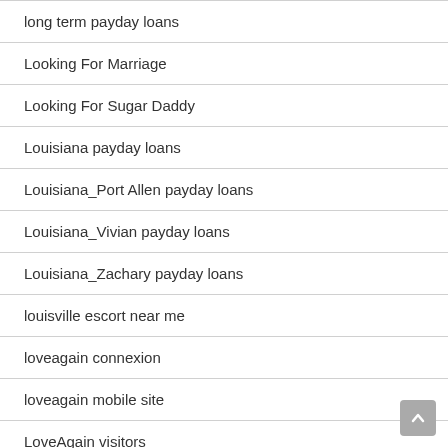long term payday loans
Looking For Marriage
Looking For Sugar Daddy
Louisiana payday loans
Louisiana_Port Allen payday loans
Louisiana_Vivian payday loans
Louisiana_Zachary payday loans
louisville escort near me
loveagain connexion
loveagain mobile site
LoveAgain visitors
loveagain web